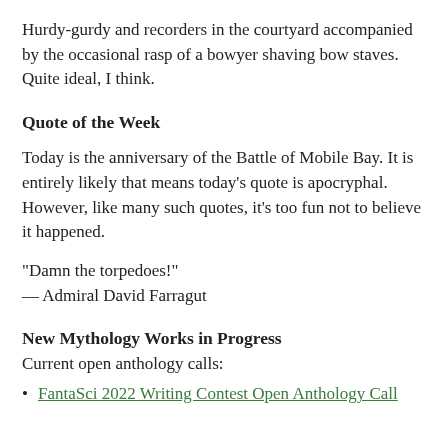Hurdy-gurdy and recorders in the courtyard accompanied by the occasional rasp of a bowyer shaving bow staves. Quite ideal, I think.
Quote of the Week
Today is the anniversary of the Battle of Mobile Bay. It is entirely likely that means today's quote is apocryphal. However, like many such quotes, it's too fun not to believe it happened.
"Damn the torpedoes!"
— Admiral David Farragut
New Mythology Works in Progress
Current open anthology calls:
FantaSci 2022 Writing Contest Open Anthology Call